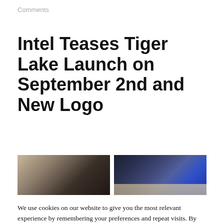Comments
Intel Teases Tiger Lake Launch on September 2nd and New Logo
[Figure (photo): Two side-by-side photos: left shows a dark laptop/device on a surface, right shows a blue-lit laptop with a metallic surface visible]
We use cookies on our website to give you the most relevant experience by remembering your preferences and repeat visits. By clicking "Accept All", you consent to the use of ALL the cookies. However, you may visit "Cookie Settings" to provide a controlled consent.
Cookie Settings   Accept All